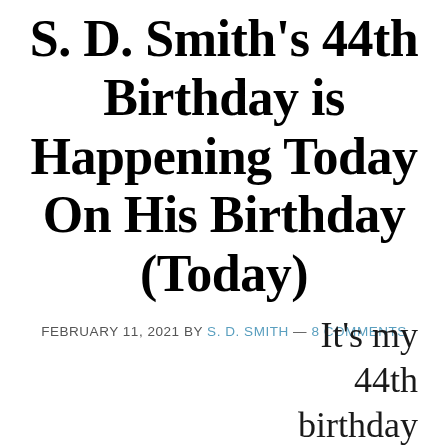S. D. Smith's 44th Birthday is Happening Today On His Birthday (Today)
FEBRUARY 11, 2021 BY S. D. SMITH — 8 COMMENTS
It's my 44th birthday